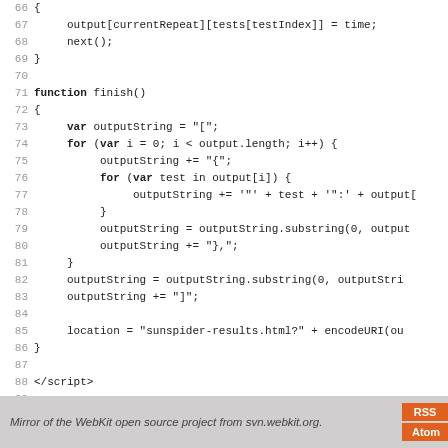Code listing lines 66-94 showing JavaScript finish() function and HTML closing tags
Mirror of the WebKit open source project from svn.webkit.org.  RSS  Atom